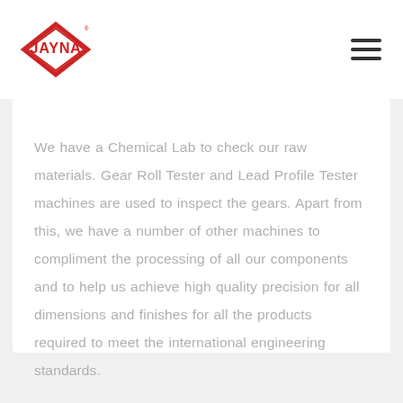JAYNA logo and navigation menu
We have a Chemical Lab to check our raw materials. Gear Roll Tester and Lead Profile Tester machines are used to inspect the gears. Apart from this, we have a number of other machines to compliment the processing of all our components and to help us achieve high quality precision for all dimensions and finishes for all the products required to meet the international engineering standards.